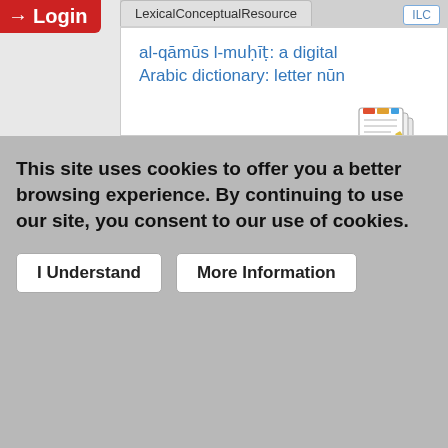Login
al-qāmūs l-muḥīṭ: a digital Arabic dictionary: letter nūn
(Istituto di Linguistica Computazionale "A. Zampolli" - Consiglio Nazionale delle Ricerche (ILC-CNR); Laboratory of Intelligent Systems and Applications, Faculty of Sciences and Technology, B.P. 2202, Imouzzer road Fez, Morocco / 2019-12-20)
Author(s): Nahli, Ouafae ; Zarghili, Arsalane and Khalfi, Mustapha
This item contains 1 file (725.27 KB).
This site uses cookies to offer you a better browsing experience. By continuing to use our site, you consent to our use of cookies.